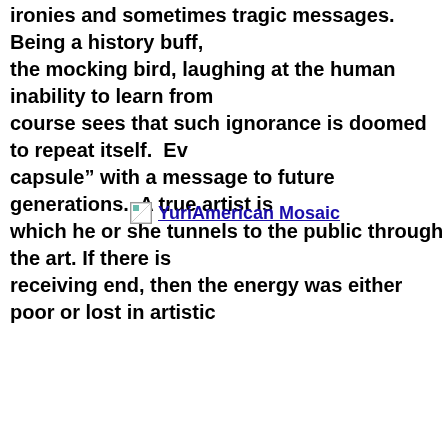ironies and sometimes tragic messages.  Being a history buff, the mocking bird, laughing at the human inability to learn from course sees that such ignorance is doomed to repeat itself.  Ev capsule" with a message to future generations.  A true artist is which he or she tunnels to the public through the art. If there is receiving end, then the energy was either poor or lost in artistic
[Figure (other): A small broken image icon followed by a hyperlink labeled 'YuriAmerican Mosaic']